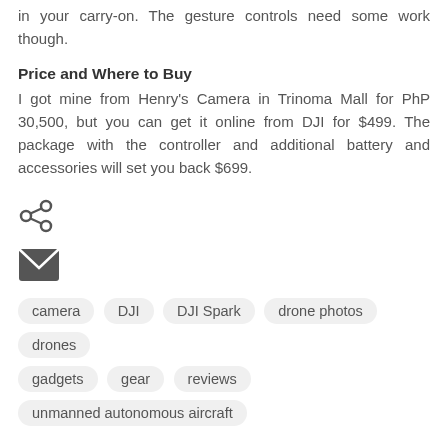in your carry-on. The gesture controls need some work though.
Price and Where to Buy
I got mine from Henry's Camera in Trinoma Mall for PhP 30,500, but you can get it online from DJI for $499. The package with the controller and additional battery and accessories will set you back $699.
[Figure (illustration): Share icon (social sharing symbol)]
[Figure (illustration): Email/envelope icon]
camera
DJI
DJI Spark
drone photos
drones
gadgets
gear
reviews
unmanned autonomous aircraft